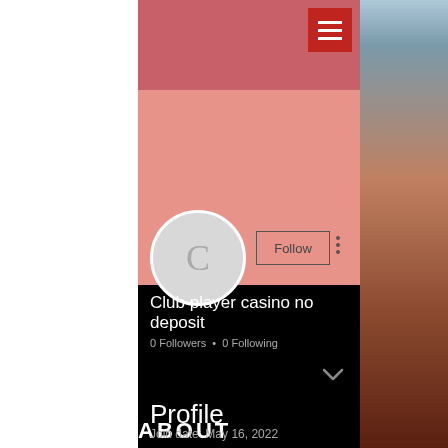[Figure (screenshot): User profile page screenshot with salmon/rose header, circular avatar with letter C, Follow button, username, followers count, Profile section, and Join date]
Club player casino no deposit
0 Followers • 0 Following
Profile
Join date: May 16, 2022
ABOUT